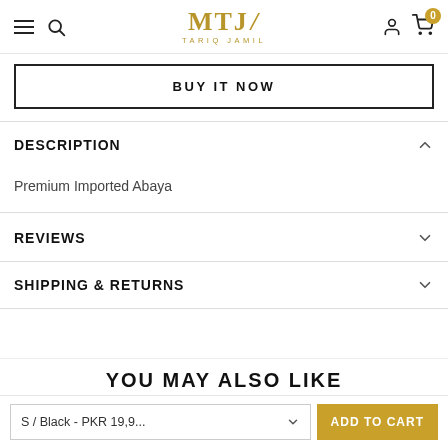MTJ TARIQ JAMIL — navigation header with logo, search, hamburger, user icon, cart (0)
BUY IT NOW
DESCRIPTION
Premium Imported Abaya
REVIEWS
SHIPPING & RETURNS
YOU MAY ALSO LIKE
S/ Black - PKR 19,9... ADD TO CART